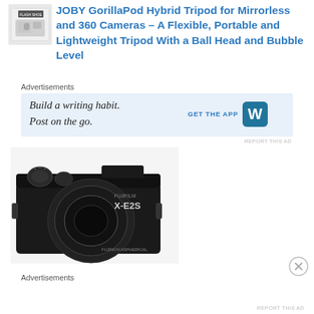[Figure (photo): Product photo of JOBY GorillaPod Hybrid packaging with flash shoe visible]
JOBY GorillaPod Hybrid Tripod for Mirrorless and 360 Cameras – A Flexible, Portable and Lightweight Tripod With a Ball Head and Bubble Level
Advertisements
[Figure (screenshot): Advertisement banner: Build a writing habit. Post on the go. GET THE APP [WordPress logo]]
REPORT THIS AD
[Figure (photo): Photo of a black Fujifilm X-E2S mirrorless camera with lens]
Advertisements
REPORT THIS AD